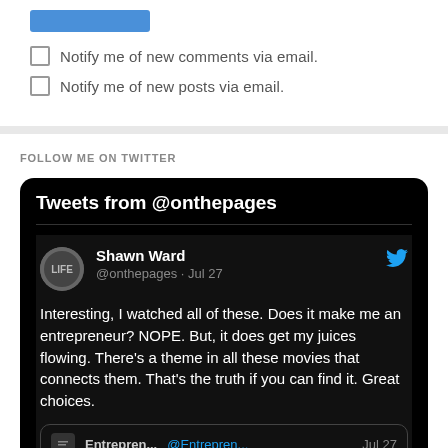[Figure (screenshot): Submit button (blue/dark, partially visible at top of form)]
Notify me of new comments via email.
Notify me of new posts via email.
FOLLOW ME ON TWITTER
[Figure (screenshot): Twitter widget showing 'Tweets from @onthepages' with a tweet by Shawn Ward (@onthepages · Jul 27): 'Interesting, I watched all of these. Does it make me an entrepreneur? NOPE. But, it does get my juices flowing. There's a theme in all these movies that connects them. That's the truth if you can find it. Great choices.' Below is a quoted tweet snippet showing Entrepren... @Entrepren... Jul 27]